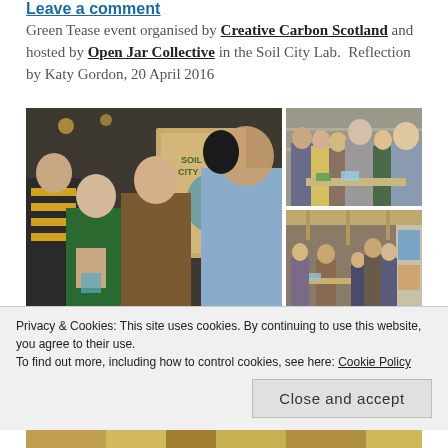Leave a comment
Green Tease event organised by Creative Carbon Scotland and hosted by Open Jar Collective in the Soil City Lab.  Reflection by Katy Gordon, 20 April 2016
[Figure (photo): Three photos from a Green Tease event at the Soil City Lab: a large left photo showing attendees examining items including a woman in green and a man in a blue shirt near a 'Soil City' display board; top-right photo showing a group of people standing and looking at materials; bottom-right photo showing a wider view of the lab space with people browsing exhibits.]
Privacy & Cookies: This site uses cookies. By continuing to use this website, you agree to their use.
To find out more, including how to control cookies, see here: Cookie Policy
[Figure (photo): Partial view of a bottom photo showing colorful items, partially cut off at bottom of page.]